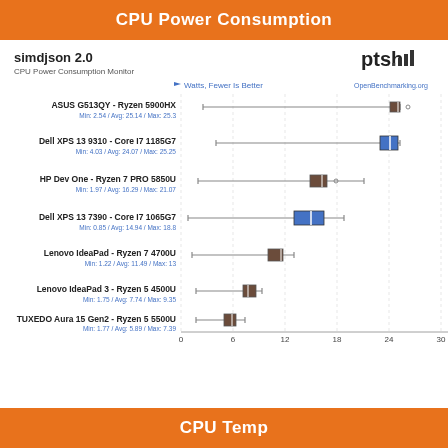CPU Power Consumption
simdjson 2.0
CPU Power Consumption Monitor
[Figure (bar-chart): CPU Power Consumption - simdjson 2.0]
CPU Temp